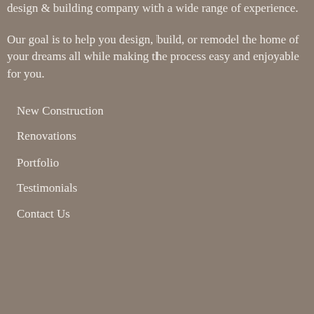design & building company with a wide range of experience.
Our goal is to help you design, build, or remodel the home of your dreams all while making the process easy and enjoyable for you.
New Construction
Renovations
Portfolio
Testimonials
Contact Us